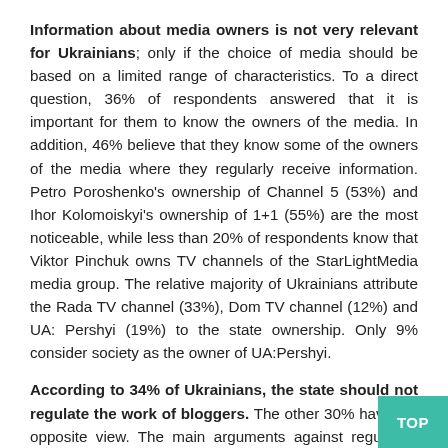Information about media owners is not very relevant for Ukrainians; only if the choice of media should be based on a limited range of characteristics. To a direct question, 36% of respondents answered that it is important for them to know the owners of the media. In addition, 46% believe that they know some of the owners of the media where they regularly receive information. Petro Poroshenko's ownership of Channel 5 (53%) and Ihor Kolomoiskyi's ownership of 1+1 (55%) are the most noticeable, while less than 20% of respondents know that Viktor Pinchuk owns TV channels of the StarLightMedia media group. The relative majority of Ukrainians attribute the Rada TV channel (33%), Dom TV channel (12%) and UA: Pershyi (19%) to the state ownership. Only 9% consider society as the owner of UA:Pershyi.
According to 34% of Ukrainians, the state should not regulate the work of bloggers. The other 30% have the opposite view. The main arguments against regulation are the respondents' support for the ima